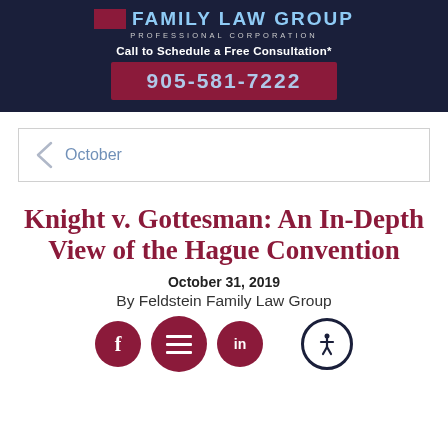FAMILY LAW GROUP PROFESSIONAL CORPORATION
Call to Schedule a Free Consultation*
905-581-7222
October
Knight v. Gottesman: An In-Depth View of the Hague Convention
October 31, 2019
By Feldstein Family Law Group
[Figure (other): Social media icons row: Facebook circle, hamburger menu circle, LinkedIn circle, and accessibility icon circle]